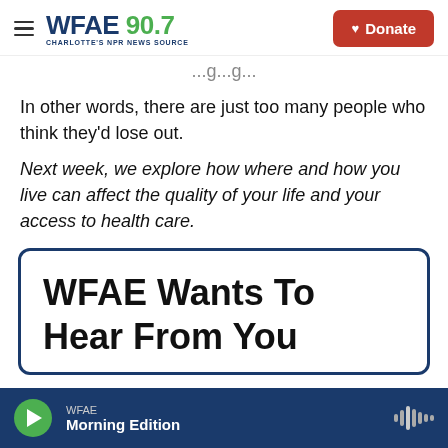WFAE 90.7 — Charlotte's NPR News Source | Donate
In other words, there are just too many people who think they'd lose out.
Next week, we explore how where and how you live can affect the quality of your life and your access to health care.
WFAE Wants To Hear From You
WFAE — Morning Edition